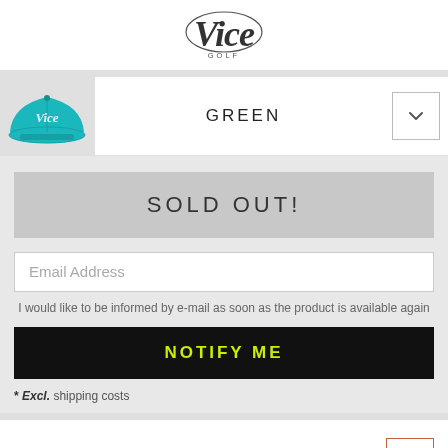[Figure (logo): Vice Golf logo - stylized script 'Vice' with 'GOLF' text underneath]
[Figure (photo): Teal/turquoise Vice Golf snapback cap with white Vice logo embroidery]
GREEN
SOLD OUT!
Email Address
I would like to be informed by e-mail as soon as the product is available again
NOTIFY ME
* Excl. shipping costs
DETAILS